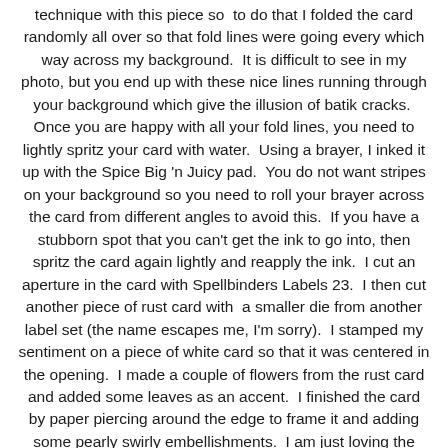technique with this piece so  to do that I folded the card randomly all over so that fold lines were going every which way across my background.  It is difficult to see in my photo, but you end up with these nice lines running through your background which give the illusion of batik cracks.  Once you are happy with all your fold lines, you need to lightly spritz your card with water.  Using a brayer, I inked it up with the Spice Big 'n Juicy pad.  You do not want stripes on your background so you need to roll your brayer across the card from different angles to avoid this.  If you have a stubborn spot that you can't get the ink to go into, then spritz the card again lightly and reapply the ink.  I cut an aperture in the card with Spellbinders Labels 23.  I then cut another piece of rust card with  a smaller die from another label set (the name escapes me, I'm sorry).  I stamped my sentiment on a piece of white card so that it was centered in the opening.  I made a couple of flowers from the rust card and added some leaves as an accent.  I finished the card by paper piercing around the edge to frame it and adding some pearly swirly embellishments.  I am just loving the changing of the leaves right now so that was my inspiration for this one.  Hope you like it!  All for now, Sue x